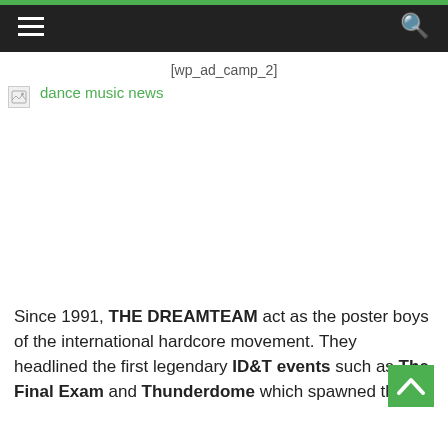≡  [navigation] | 🔍 [search]
[wp_ad_camp_2]
[Figure (photo): Broken image placeholder with link text 'dance music news' in green]
Since 1991, THE DREAMTEAM act as the poster boys of the international hardcore movement. They headlined the first legendary ID&T events such as The Final Exam and Thunderdome which spawned the